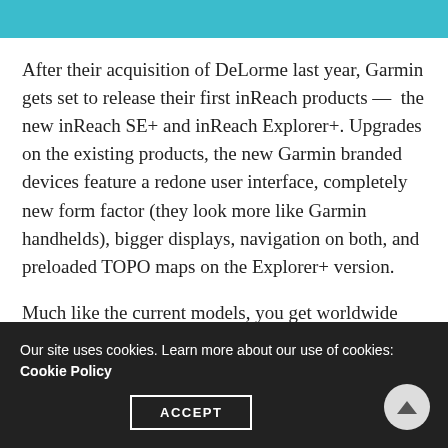After their acquisition of DeLorme last year, Garmin gets set to release their first inReach products — the new inReach SE+ and inReach Explorer+. Upgrades on the existing products, the new Garmin branded devices feature a redone user interface, completely new form factor (they look more like Garmin handhelds), bigger displays, navigation on both, and preloaded TOPO maps on the Explorer+ version.
Much like the current models, you get worldwide coverage via the Iridium satellite network in order to send and receive text messages to any cell phone number, email address, or another
Our site uses cookies. Learn more about our use of cookies: Cookie Policy